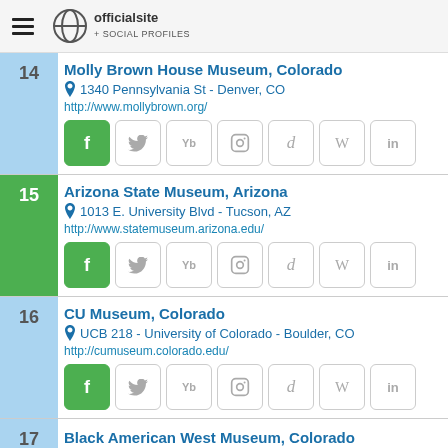officialsite + SOCIAL PROFILES
14 Molly Brown House Museum, Colorado
1340 Pennsylvania St - Denver, CO
http://www.mollybrown.org/
15 Arizona State Museum, Arizona
1013 E. University Blvd - Tucson, AZ
http://www.statemuseum.arizona.edu/
16 CU Museum, Colorado
UCB 218 - University of Colorado - Boulder, CO
http://cumuseum.colorado.edu/
17 Black American West Museum, Colorado